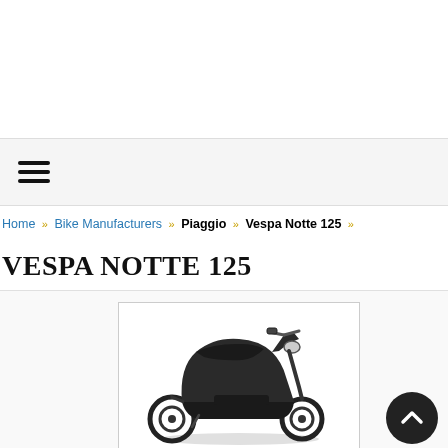[Figure (other): Hamburger menu icon (three horizontal bars)]
Home » Bike Manufacturers » Piaggio » Vespa Notte 125 »
VESPA NOTTE 125
[Figure (photo): Photo of a black Vespa Notte 125 scooter on a white background, shown from a three-quarter front-left angle.]